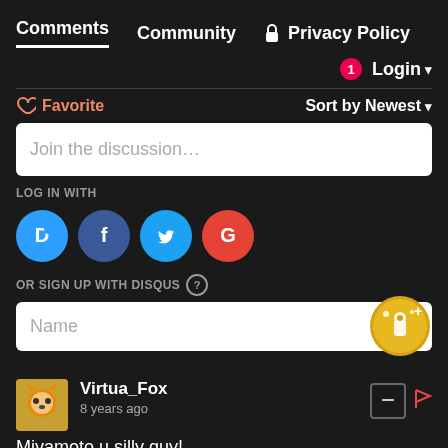Comments   Community   🔒 Privacy Policy
1  Login ▾
♡ Favorite   Sort by Newest ▾
Join the discussion...
LOG IN WITH
[Figure (other): Social login icons: Disqus (D), Facebook (f), Twitter bird, Google (G)]
OR SIGN UP WITH DISQUS ?
Name
Virtua_Fox
8 years ago
Miyamoto u silly guy!
3 ^ Reply